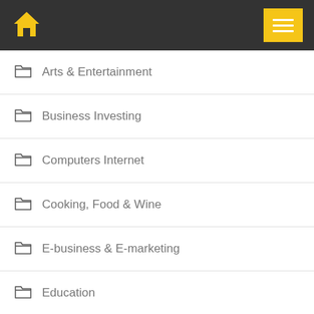[Figure (screenshot): Navigation header bar with golden house/home icon on the left and a yellow hamburger menu button on the right, on a dark gray background.]
Arts & Entertainment
Business Investing
Computers Internet
Cooking, Food & Wine
E-business & E-marketing
Education
Employment Jobs
Games